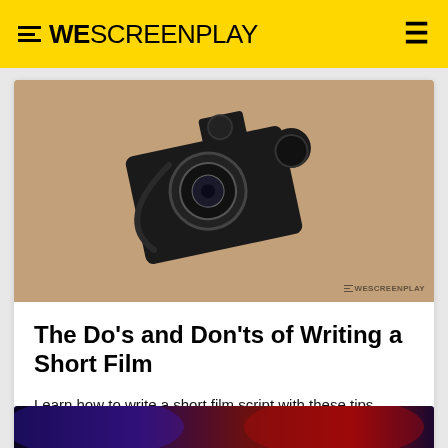WESCREENPLAY
[Figure (photo): Aerial view of a vintage black film camera on a brown/kraft paper background, with WeScreenplay watermark in bottom right]
The Do’s and Don’ts of Writing a Short Film
Learn how to write a short film script with these tips.   Short films are an excellent avenue for creative exploration, succinct storytelling, and getting your work out there. But, looks can be deceiving. For these bite-size narratives, shorter doesn't...
[Figure (photo): Partial view of a dark image with red and blue lighting, bottom of page]